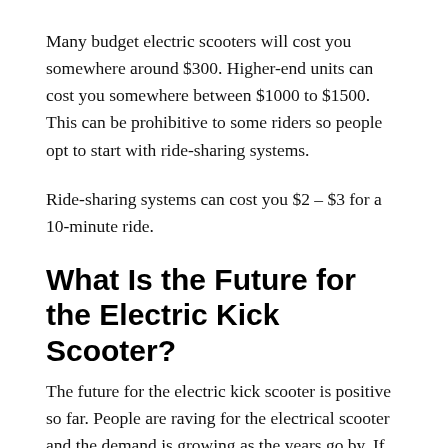Many budget electric scooters will cost you somewhere around $300. Higher-end units can cost you somewhere between $1000 to $1500. This can be prohibitive to some riders so people opt to start with ride-sharing systems.
Ride-sharing systems can cost you $2 – $3 for a 10-minute ride.
What Is the Future for the Electric Kick Scooter?
The future for the electric kick scooter is positive so far. People are raving for the electrical scooter and the demand is growing as the years go by. If you can invest in your a scooter you will get a good 2 to 3 years